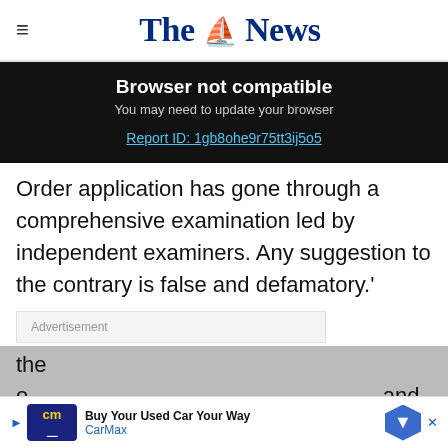The News
Browser not compatible
You may need to update your browser
Report ID: 1gb8ohe9r75tt3ij5o5
Order application has gone through a comprehensive examination led by independent examiners. Any suggestion to the contrary is false and defamatory.'
Advertisement
The plan has been 'carefully designed' to minimise damage to the e and it wo
[Figure (other): CarMax advertisement banner at bottom of page: 'Buy Your Used Car Your Way' with CarMax logo and navigation icon]